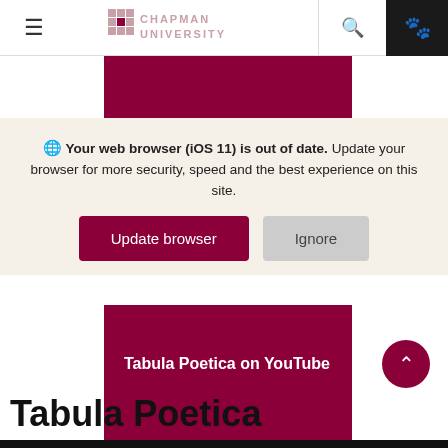[Figure (screenshot): Chapman University navigation bar with hamburger menu, logo, search icon, and paw icon on dark background]
[Figure (other): Dark red/maroon banner block at top of page]
Your web browser (iOS 11) is out of date. Update your browser for more security, speed and the best experience on this site.
[Figure (other): Update browser and Ignore buttons on beige background overlay]
[Figure (other): Dark red/maroon banner block with text 'Tabula Poetica on YouTube']
Tabula Poetica